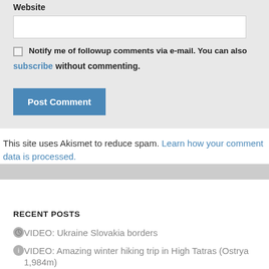Website
Notify me of followup comments via e-mail. You can also subscribe without commenting.
Post Comment
This site uses Akismet to reduce spam. Learn how your comment data is processed.
RECENT POSTS
VIDEO: Ukraine Slovakia borders
VIDEO: Amazing winter hiking trip in High Tatras (Ostya 1,984m)